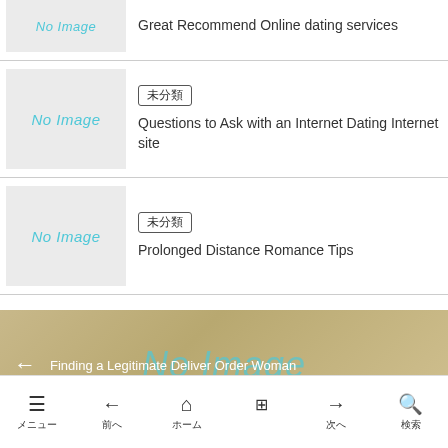[Figure (other): No Image placeholder thumbnail (partial, top)]
Great Recommend Online dating services
[Figure (other): No Image placeholder thumbnail]
未分類
Questions to Ask with an Internet Dating Internet site
[Figure (other): No Image placeholder thumbnail]
未分類
Prolonged Distance Romance Tips
[Figure (other): No Image watermark over article navigation area. Arrow back and title: Finding a Legitimate Deliver Order Woman]
メニュー　前へ　ホーム　[grid]　次へ　検索